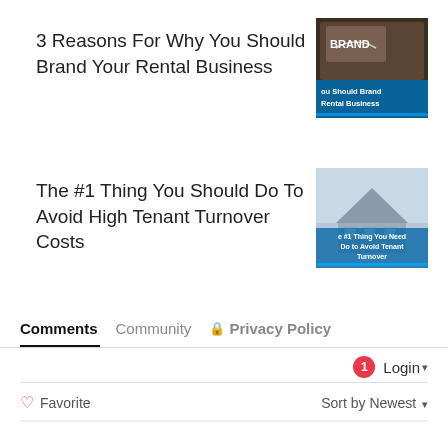3 Reasons For Why You Should Brand Your Rental Business
[Figure (photo): Thumbnail image with BRAND text on dark background with overlay text 'ou Should Brand Rental Business']
The #1 Thing You Should Do To Avoid High Tenant Turnover Costs
[Figure (photo): Thumbnail image of a house exterior with overlay text '#1 Thing You Need Do to Avoid Tenant Turnover']
Comments   Community   🔒 Privacy Policy
1  Login ▾
♡ Favorite
Sort by Newest ▾